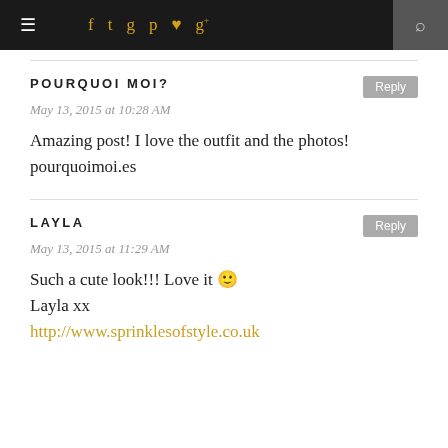≡  f  🐦  📷  ℗  ♥  g+  🔍
POURQUOI MOI?
May 13, 2015 at 10:28 AM
Amazing post! I love the outfit and the photos! pourquoimoi.es
LAYLA
May 13, 2015 at 11:29 AM
Such a cute look!!! Love it 🙂
Layla xx
http://www.sprinklesofstyle.co.uk